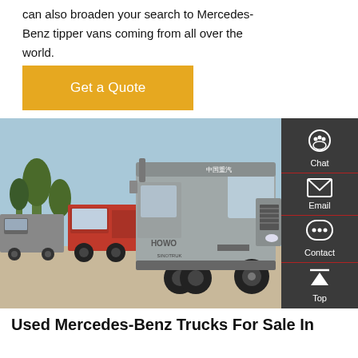can also broaden your search to Mercedes-Benz tipper vans coming from all over the world.
Get a Quote
[Figure (photo): A silver HOWO heavy-duty truck in the foreground with a red truck and other trucks in the background, parked in an open area with trees and a light blue sky.]
Used Mercedes-Benz Trucks For Sale In